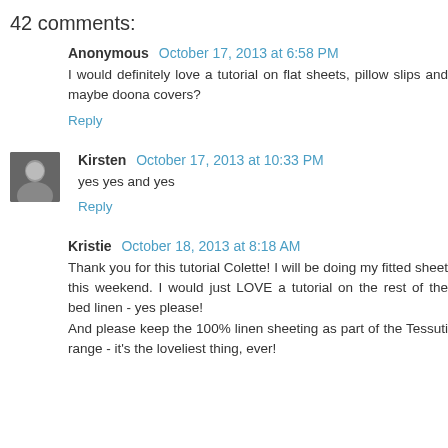42 comments:
Anonymous October 17, 2013 at 6:58 PM
I would definitely love a tutorial on flat sheets, pillow slips and maybe doona covers?
Reply
Kirsten October 17, 2013 at 10:33 PM
yes yes and yes
Reply
Kristie October 18, 2013 at 8:18 AM
Thank you for this tutorial Colette! I will be doing my fitted sheet this weekend. I would just LOVE a tutorial on the rest of the bed linen - yes please!
And please keep the 100% linen sheeting as part of the Tessuti range - it's the loveliest thing, ever!